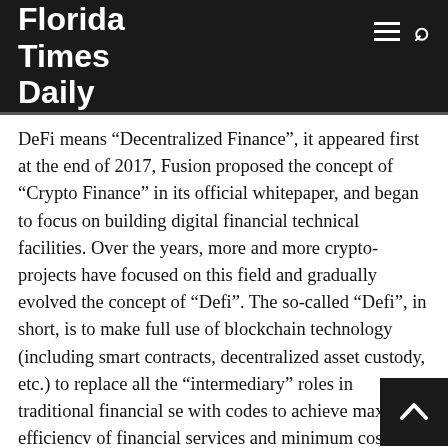Florida Times Daily
DeFi means “Decentralized Finance”, it appeared first at the end of 2017, Fusion proposed the concept of “Crypto Finance” in its official whitepaper, and began to focus on building digital financial technical facilities. Over the years, more and more crypto-projects have focused on this field and gradually evolved the concept of “Defi”. The so-called “Defi”, in short, is to make full use of blockchain technology (including smart contracts, decentralized asset custody, etc.) to replace all the “intermediary” roles in traditional financial se... with codes to achieve maximum efficiency of financial services and minimum cost.